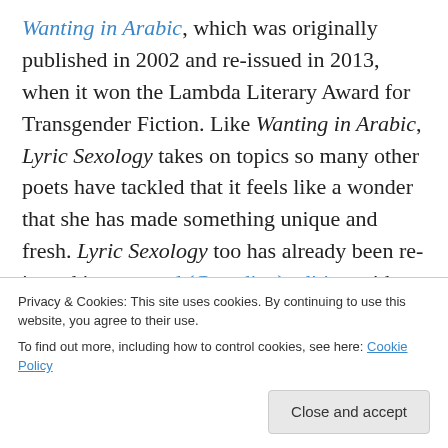Wanting in Arabic, which was originally published in 2002 and re-issued in 2013, when it won the Lambda Literary Award for Transgender Fiction. Like Wanting in Arabic, Lyric Sexology takes on topics so many other poets have tackled that it feels like a wonder that she has made something unique and fresh. Lyric Sexology too has already been re-issued in a second (Canadian) edition with some additional poems not included in the first edition by Metonymy Press, which is fast becoming one of my favourite publishers. (The first American edition was published in 2014, with Metonymy's edition coming out in
Privacy & Cookies: This site uses cookies. By continuing to use this website, you agree to their use. To find out more, including how to control cookies, see here: Cookie Policy
Close and accept